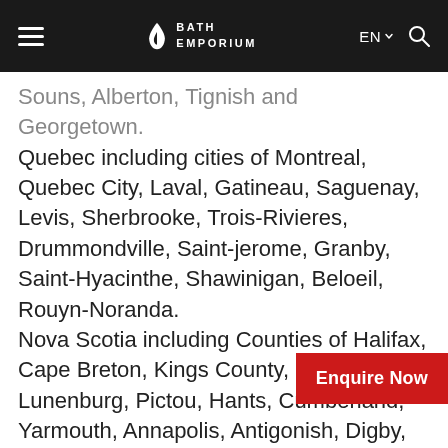BATH EMPORIUM
Souns, Alberton, Tignish and Georgetown. Quebec including cities of Montreal, Quebec City, Laval, Gatineau, Saguenay, Levis, Sherbrooke, Trois-Rivieres, Drummondville, Saint-jerome, Granby, Saint-Hyacinthe, Shawinigan, Beloeil, Rouyn-Noranda. Nova Scotia including Counties of Halifax, Cape Breton, Kings County, Colchester, Lunenburg, Pictou, Hants, Cumberland, Yarmouth, Annapolis, Antigonish, Digby, Inverness, Shelburne, Queens, Richmond County, Guysborough and Victoria County. Be it a Traditional, Transitional, Mode contemporary style bath faucets at a great prices, consider CAMPO THERMOSTATIC SHOWER PACKAGE #CMKIT50 by Rohl